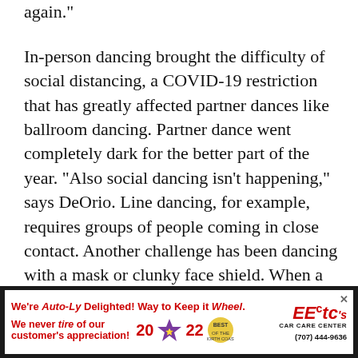again."
In-person dancing brought the difficulty of social distancing, a COVID-19 restriction that has greatly affected partner dances like ballroom dancing. Partner dance went completely dark for the better part of the year. "Also social dancing isn't happening," says DeOrio. Line dancing, for example, requires groups of people coming in close contact. Another challenge has been dancing with a mask or clunky face shield. When a dancer's face is covered, they are no longer able to fully use facial expressions to convey emotion. In a mask, they are pushed to use their bodies to "grow emotional movement," says Jonny Wisan, an instructor at Trinity Ballet Academy and North Coast Dance as well as a dancer with Ballet Emmaus.
[Figure (infographic): Advertisement banner: 'We're Auto-Ly Delighted! Way to Keep it Wheel. We never tire of our customer's appreciation! 20 22' with star badge and Best badge, and EECtc's Car Care Center logo with phone number (707) 444-9636]